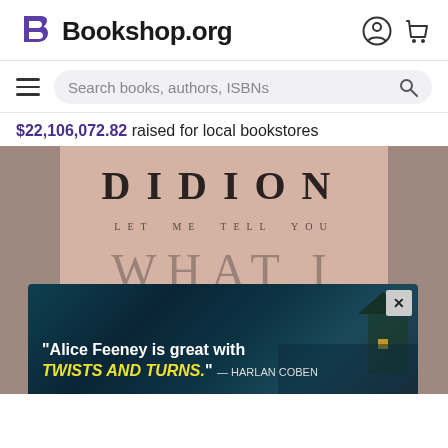[Figure (logo): Bookshop.org logo with stylized B icon and site name, plus user account and cart icons]
Search books, authors, ISBNs
$22,106,072.82 raised for local bookstores
[Figure (photo): Book cover for 'Let Me Tell You What I Mean' by Didion, displayed on a pink/mauve background with large serif typography]
[Figure (photo): Advertisement banner with dark teal ocean/cliff background. Text: "Alice Feeney is great with TWISTS AND TURNS." — HARLAN COBEN. Has an X close button.]